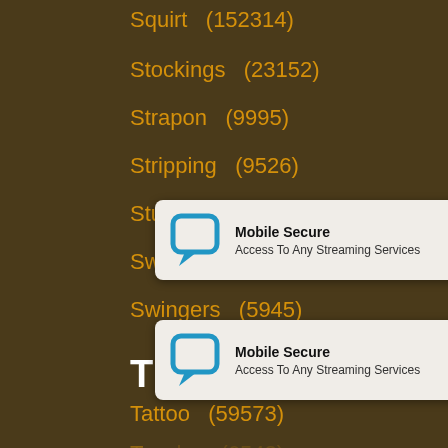Squirt  (152314)
Stockings  (23152)
Strapon  (9995)
Stripping  (9526)
Student  (64135)
Swallow  (90904)
Swingers  (5945)
T
Tattoo  (59573)
Teacher  (6543)
Threesome  (137021)
Titjob  (3696)
Turkish  (1034)
[Figure (screenshot): Two 'Mobile Secure - Access To Any Streaming Services' notification popups overlaid on the page content, each with a blue chat bubble icon, bold title 'Mobile Secure', subtitle 'Access To Any Streaming Services', and a close 'x' button.]